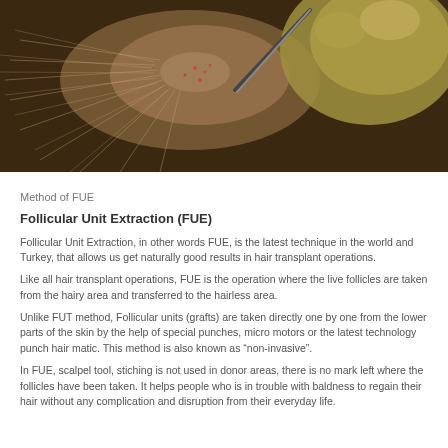[Figure (photo): Close-up photograph of a hair transplant procedure showing a gloved hand holding a surgical tool extracting follicular units from a patient's scalp. The scalp shows reddish puncture marks consistent with FUE technique.]
Method of FUE
Follicular Unit Extraction (FUE)
Follicular Unit Extraction, in other words FUE, is the latest technique in the world and Turkey, that allows us get naturally good results in hair transplant operations.
Like all hair transplant operations, FUE is the operation where the live follicles are taken from the hairy area and transferred to the hairless area.
Unlike FUT method, Follicular units (grafts) are taken directly one by one from the lower parts of the skin by the help of special punches, micro motors or the latest technology punch hair matic. This method is also known as “non-invasive”.
In FUE, scalpel tool, stiching is not used in donor areas, there is no mark left where the follicles have been taken. It helps people who is in trouble with baldness to regain their hair without any complication and disruption from their everyday life.